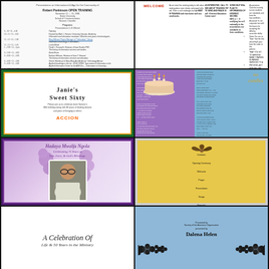[Figure (photo): Program or schedule document with title and timed agenda items, white background with small text]
[Figure (photo): Welcome letter document with red title 'WELCOME' and bullet point list on white background]
[Figure (photo): Janie's Sweet Sixty birthday invitation with green border and orange accent, white inner card with ACCION logo]
[Figure (photo): No Candles birthday card with purple/teal design, black top section with cake image and golden italic title, poem text]
[Figure (photo): Hadaya birthday program with purple border, purple floral background, woman's portrait photo, italic script text]
[Figure (photo): Yellow invitation card with dark ribbon bow on top, program text in black on yellow background]
[Figure (photo): A Celebration Of - italic script title on white background]
[Figure (photo): Blue program cover with ornate black floral border design and presenter name Dalena Helen]